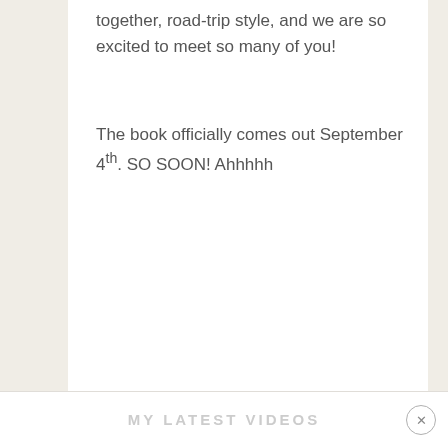together, road-trip style, and we are so excited to meet so many of you!
The book officially comes out September 4th. SO SOON! Ahhhhh
MY LATEST VIDEOS